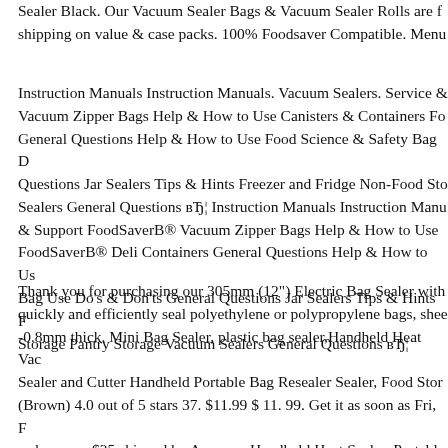Sealer Black. Our Vacuum Sealer Bags & Vacuum Sealer Rolls are f... shipping on value & case packs. 100% Foodsaver Compatible. Menu...
Instruction Manuals Instruction Manuals. Vacuum Sealers. Service & Vacuum Zipper Bags Help & How to Use Canisters & Containers Fo... General Questions Help & How to Use Food Science & Safety Bag D... Questions Jar Sealers Tips & Hints Freezer and Fridge Non-Food Sto... Sealers General Questions вЂ¦ Instruction Manuals Instruction Manu... & Support FoodSaverB® Vacuum Zipper Bags Help & How to Use FoodSaverB® Deli Containers General Questions Help & How to Us... Bag Use Do's & Don'ts General Questions Jar Sealers Tips & Hints F... Storage Pantry Storage Vacuum Sealers General Questions вЂ¦
Thank you for purchasing our 305mm (12") Electric Bag Sealer with... quickly and efficiently seal polyethylene or polypropylene bags, shee... -0.8mm thick. Mini Bag Sealer, plastic bag sealer,Handheld Heat Vac... Sealer and Cutter Handheld Portable Bag Resealer Sealer, Food Stor... (Brown) 4.0 out of 5 stars 37. $11.99 $ 11. 99. Get it as soon as Fri, F... orders over $25 shipped by Amazon. Handheld Heat Sealer, Portable... Cutter, Mini Plastic Heat Sealer Bag...